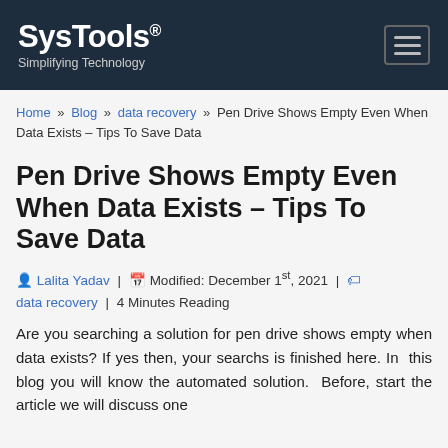SysTools® Simplifying Technology
Home » Blog » data recovery » Pen Drive Shows Empty Even When Data Exists – Tips To Save Data
Pen Drive Shows Empty Even When Data Exists – Tips To Save Data
Lalita Yadav | Modified: December 1st, 2021 | data recovery | 4 Minutes Reading
Are you searching a solution for pen drive shows empty when data exists? If yes then, your searchs is finished here. In  this blog you will know the automated solution.  Before, start the article we will discuss one